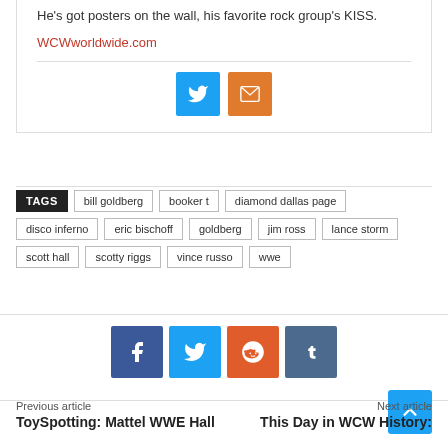He's got posters on the wall, his favorite rock group's KISS.
WCWworldwide.com
[Figure (infographic): Twitter and email share icon buttons]
TAGS
bill goldberg
booker t
diamond dallas page
disco inferno
eric bischoff
goldberg
jim ross
lance storm
scott hall
scotty riggs
vince russo
wwe
[Figure (infographic): Facebook, Twitter, Reddit, Tumblr share buttons]
Previous article
Next article
ToySpotting: Mattel WWE Hall
This Day in WCW History: